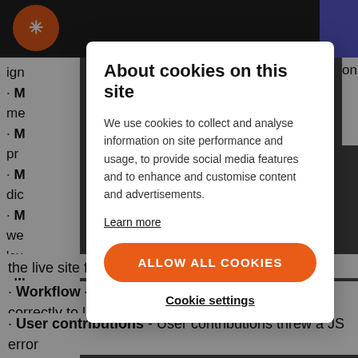· M... on the live site for media file thumbnails.
· Workflow - Workflow scopes weren't applied correctly to linked documents.
· User contributions - User contributions threw a JS error
About cookies on this site
We use cookies to collect and analyse information on site performance and usage, to provide social media features and to enhance and customise content and advertisements.
Learn more
ALLOW ALL COOKIES
Cookie settings